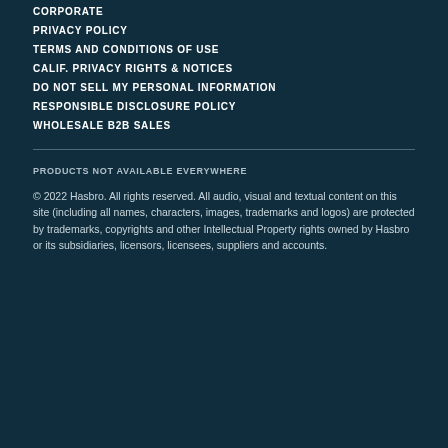CORPORATE
PRIVACY POLICY
TERMS AND CONDITIONS OF USE
CALIF. PRIVACY RIGHTS & NOTICES
DO NOT SELL MY PERSONAL INFORMATION
RESPONSIBLE DISCLOSURE POLICY
WHOLESALE B2B SALES
PRODUCTS NOT AVAILABLE EVERYWHERE
© 2022 Hasbro. All rights reserved. All audio, visual and textual content on this site (including all names, characters, images, trademarks and logos) are protected by trademarks, copyrights and other Intellectual Property rights owned by Hasbro or its subsidiaries, licensors, licensees, suppliers and accounts.